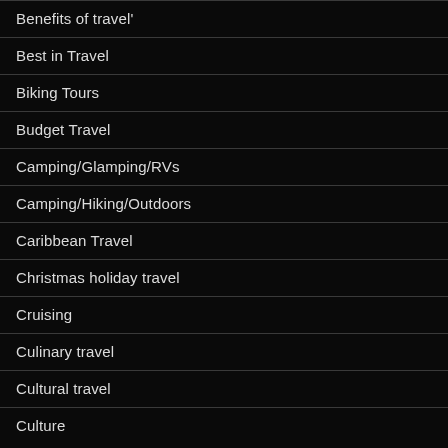Benefits of travel'
Best in Travel
Biking Tours
Budget Travel
Camping/Glamping/RVs
Camping/Hiking/Outdoors
Caribbean Travel
Christmas holiday travel
Cruising
Culinary travel
Cultural travel
Culture